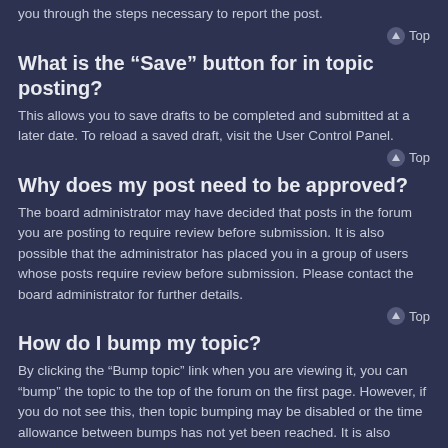you through the steps necessary to report the post.
Top
What is the “Save” button for in topic posting?
This allows you to save drafts to be completed and submitted at a later date. To reload a saved draft, visit the User Control Panel.
Top
Why does my post need to be approved?
The board administrator may have decided that posts in the forum you are posting to require review before submission. It is also possible that the administrator has placed you in a group of users whose posts require review before submission. Please contact the board administrator for further details.
Top
How do I bump my topic?
By clicking the “Bump topic” link when you are viewing it, you can “bump” the topic to the top of the forum on the first page. However, if you do not see this, then topic bumping may be disabled or the time allowance between bumps has not yet been reached. It is also possible to bump the topic simply by replying to it, however, be sure to follow the board rules when doing so.
Top